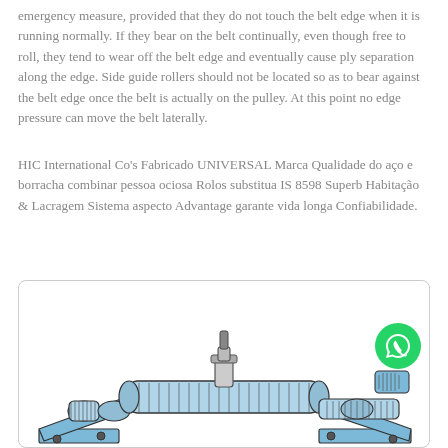emergency measure, provided that they do not touch the belt edge when it is running normally. If they bear on the belt continually, even though free to roll, they tend to wear off the belt edge and eventually cause ply separation along the edge. Side guide rollers should not be located so as to bear against the belt edge once the belt is actually on the pulley. At this point no edge pressure can move the belt laterally.
HIC International Co's Fabricado UNIVERSAL Marca Qualidade do aço e borracha combinar pessoa ociosa Rolos substitua IS 8598 Superb Habitação & Lacragem Sistema aspecto Advantage garante vida longa Confiabilidade.
[Figure (illustration): Technical illustration of a conveyor belt idler roller assembly (wing/impact idler), shown in blue and grey tones with detailed mechanical components including rollers, frame, and sealing. A WhatsApp icon is overlaid in the upper right corner.]